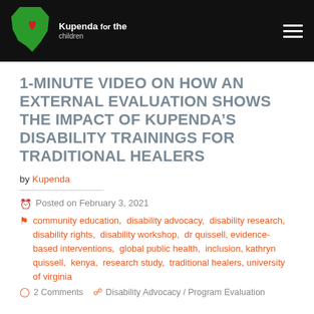Kupenda for the children
1-MINUTE VIDEO ON HOW AN EXTERNAL EVALUATION SHOWS THE IMPACT OF KUPENDA’S DISABILITY TRAININGS FOR TRADITIONAL HEALERS
by Kupenda
Posted on February 3, 2021
community education, disability advocacy, disability research, disability rights, disability workshop, dr quissell, evidence-based interventions, global public health, inclusion, kathryn quissell, kenya, research study, traditional healers, university of virginia
2 Comments   Disability Advocacy / Program Evaluation